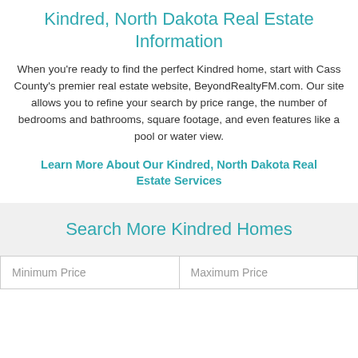Kindred, North Dakota Real Estate Information
When you're ready to find the perfect Kindred home, start with Cass County's premier real estate website, BeyondRealtyFM.com. Our site allows you to refine your search by price range, the number of bedrooms and bathrooms, square footage, and even features like a pool or water view.
Learn More About Our Kindred, North Dakota Real Estate Services
Search More Kindred Homes
Minimum Price
Maximum Price